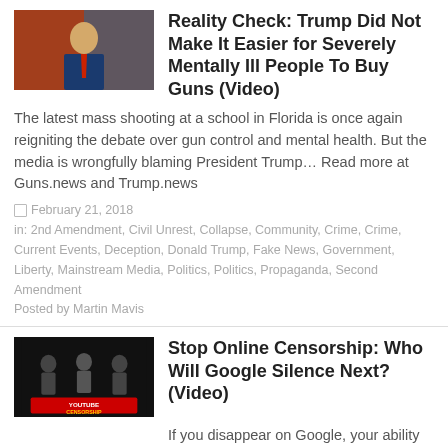[Figure (photo): Photo of Trump with flags, article thumbnail]
Reality Check: Trump Did Not Make It Easier for Severely Mentally Ill People To Buy Guns (Video)
The latest mass shooting at a school in Florida is once again reigniting the debate over gun control and mental health. But the media is wrongfully blaming President Trump… Read more at Guns.news and Trump.news
February 21, 2018
in: 2nd Amendment, Civil Unrest, Collapse, Community, Crime, Crime, Current Events, Deception, Donald Trump, Fake News, Government, Liberty, Mainstream Media, Politics, Politics, Propaganda, Second Amendment
Posted by Martin Mavis
[Figure (photo): YouTube Censorship logo/thumbnail, dark background with people silhouettes]
Stop Online Censorship: Who Will Google Silence Next? (Video)
If you disappear on Google, your ability to voice your opinion disappears too. Read more at Evil.news and Freedom.news
February 15, 2018
in: Civil Unrest, Collapse, Community, Constitution & Bill of Rights